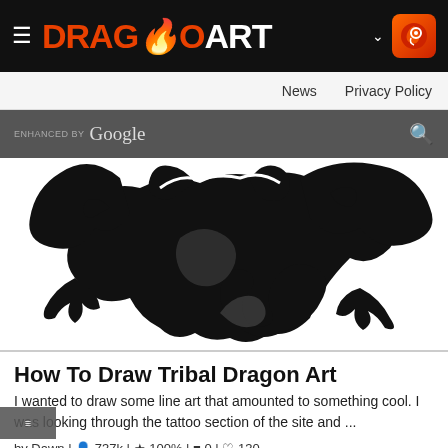DragoArt — News | Privacy Policy
ENHANCED BY Google
[Figure (illustration): Black and white tribal dragon art silhouette on white background]
How To Draw Tribal Dragon Art
I wanted to draw some line art that amounted to something cool. I was looking through the tattoo section of the site and ...
by Dawn | 737k | 100% | 0 | 130